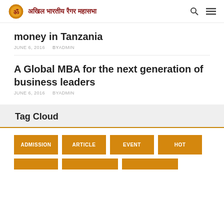अखिल भारतीय रैगर महासभा
money in Tanzania
JUNE 6, 2016   BY ADMIN
A Global MBA for the next generation of business leaders
JUNE 6, 2016   BY ADMIN
Tag Cloud
ADMISSION
ARTICLE
EVENT
HOT